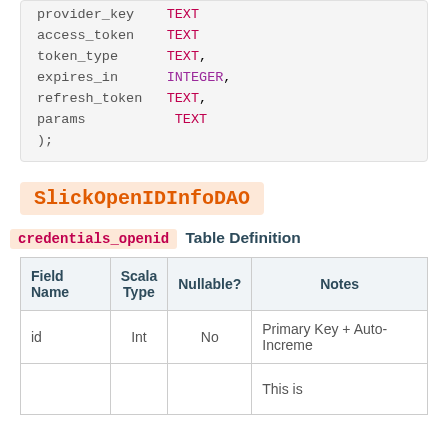provider_key TEXT
access_token TEXT
token_type TEXT,
expires_in INTEGER,
refresh_token TEXT,
params TEXT
);
SlickOpenIDInfoDAO
credentials_openid Table Definition
| Field Name | Scala Type | Nullable? | Notes |
| --- | --- | --- | --- |
| id | Int | No | Primary Key + Auto-Increme |
|  |  |  | This is |